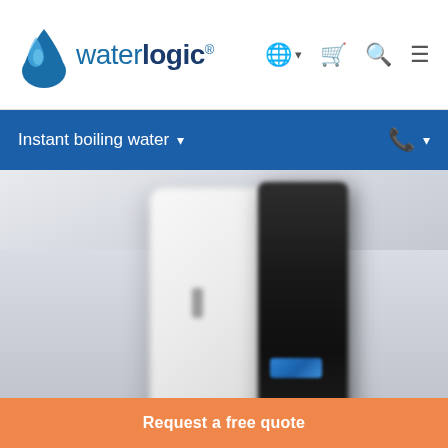waterlogic
Instant boiling water
[Figure (photo): A blurred product photo showing a Waterlogic instant boiling water dispenser — a tall white unit with a black front panel and a blue control button, photographed against a light grey background.]
Request a free quote